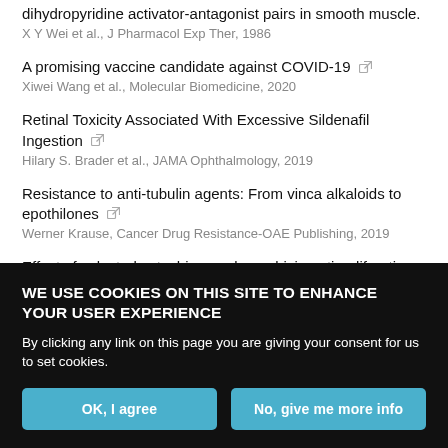dihydropyridine activator-antagonist pairs in smooth muscle.
X Y Wei et al., J Pharmacol Exp Ther, 1986
A promising vaccine candidate against COVID-19
Xiwei Wang et al., Molecular Biomedicine, 2020
Retinal Toxicity Associated With Excessive Sildenafil Ingestion
Hilary S. Brader et al., JAMA Ophthalmology, 2019
Resistance to anti-tubulin agents: From vinca alkaloids to epothilones
Werner Krause, Cancer Drug Resistance-OAE Publishing, 2019
Effect of selected catechins on doxorubicin antiproliferative efficacy and hepatotoxicity in vitro
Petra Rudolfová et al., Acta Pharmaceutica, 2014
WE USE COOKIES ON THIS SITE TO ENHANCE YOUR USER EXPERIENCE
By clicking any link on this page you are giving your consent for us to set cookies.